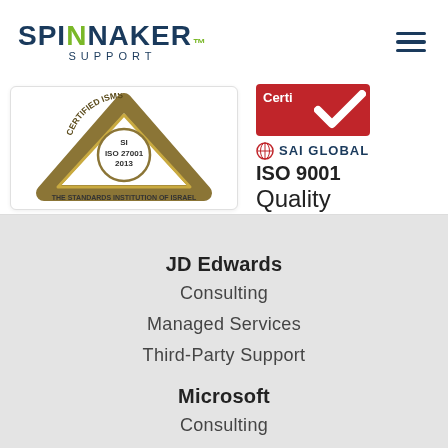[Figure (logo): Spinnaker Support logo with dark navy text and green N letter, plus SUPPORT subtitle in spaced caps]
[Figure (logo): Certified ISMS ISO 27001:2013 badge from The Standards Institution of Israel, triangular gold shape]
[Figure (logo): SAI Global ISO 9001 Quality certification badge, red box with white checkmark]
JD Edwards
Consulting
Managed Services
Third-Party Support
Microsoft
Consulting